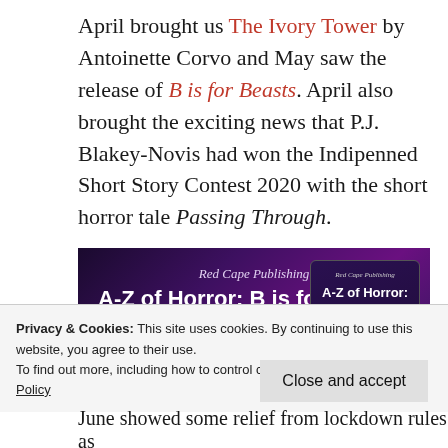April brought us The Ivory Tower by Antoinette Corvo and May saw the release of B is for Beasts. April also brought the exciting news that P.J. Blakey-Novis had won the Indipenned Short Story Contest 2020 with the short horror tale Passing Through.
[Figure (illustration): Red Cape Publishing promotional banner for 'A-Z of Horror: B is for BEASTS' showing dark purple/cosmic background with title text and a book cover mockup on the right side]
Privacy & Cookies: This site uses cookies. By continuing to use this website, you agree to their use.
To find out more, including how to control cookies, see here: Cookie Policy
Close and accept
June showed some relief from lockdown rules as